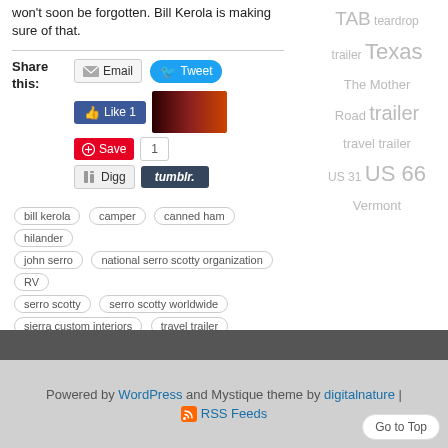won't soon be forgotten. Bill Kerola is making sure of that.
Share this: Email Tweet Like 1 Save 1 Digg tumblr.
bill kerola
camper
canned ham
hilander
john serro
national serro scotty organization
RV
serro scotty
serro scotty worldwide
sierra custom interiors
travel trailer
TAB teardrop trailer Texas The Mother Road trailer travel trailer US 31 US 66 Vermont
Powered by WordPress and Mystique theme by digitalnature | RSS Feeds